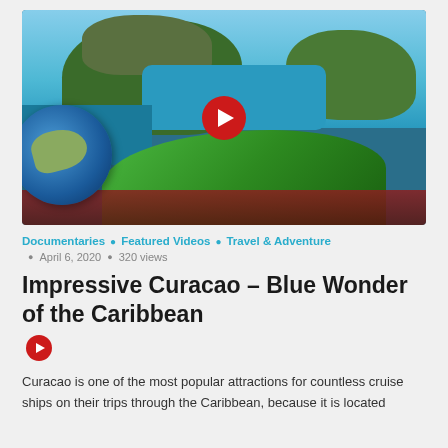[Figure (photo): Aerial view of Curacao coastline with marina, turquoise water, green hills, golf course, and globe overlay with play button]
Documentaries • Featured Videos • Travel & Adventure
April 6, 2020 • 320 views
Impressive Curacao – Blue Wonder of the Caribbean
Curacao is one of the most popular attractions for countless cruise ships on their trips through the Caribbean, because it is located